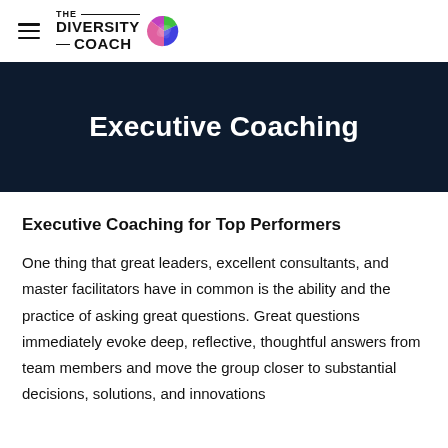THE DIVERSITY COACH
Executive Coaching
Executive Coaching for Top Performers
One thing that great leaders, excellent consultants, and master facilitators have in common is the ability and the practice of asking great questions. Great questions immediately evoke deep, reflective, thoughtful answers from team members and move the group closer to substantial decisions, solutions, and innovations